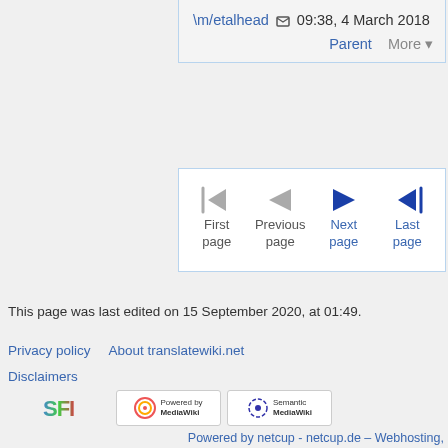\m/etalhead 09:38, 4 March 2018 Parent More
[Figure (screenshot): Navigation pagination controls: First page (gray), Previous page (gray), Next page (blue), Last page (blue)]
This page was last edited on 15 September 2020, at 01:49.
Privacy policy   About translatewiki.net
Disclaimers
[Figure (logo): SPI logo, Powered by MediaWiki logo, Semantic MediaWiki logo]
Powered by netcup - netcup.de – Webhosting, vServer, Servermanagement